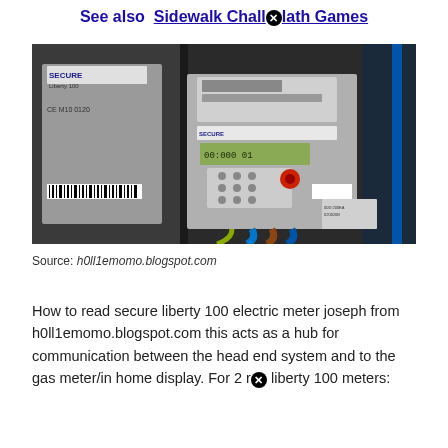See also  Sidewalk Challⓧlath Games
[Figure (photo): Photo of a Secure Liberty 100 electric meter mounted on a wall, showing keypad, LCD display, and colored electrical wires (blue, green/yellow, brown) running through conduit below the meter. A second meter panel is visible on the left side of the image.]
Source: h0ll1emomo.blogspot.com
How to read secure liberty 100 electric meter joseph from h0ll1emomo.blogspot.com this acts as a hub for communication between the head end system and to the gas meter/in home display. For 2 rⓧ liberty 100 meters: